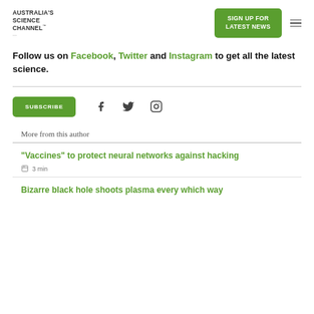[Figure (logo): Australia's Science Channel logo with superscript trademark]
[Figure (other): Green 'SIGN UP FOR LATEST NEWS' button]
[Figure (other): Hamburger menu icon (three horizontal lines)]
Follow us on Facebook, Twitter and Instagram to get all the latest science.
[Figure (other): Green SUBSCRIBE button and social media icons for Facebook, Twitter, Instagram]
More from this author
"Vaccines" to protect neural networks against hacking
3 min
Bizarre black hole shoots plasma every which way